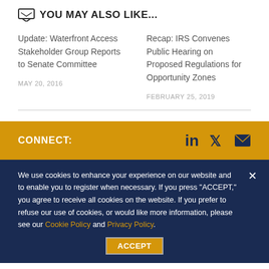YOU MAY ALSO LIKE...
Update: Waterfront Access Stakeholder Group Reports to Senate Committee
MAY 20, 2016
Recap: IRS Convenes Public Hearing on Proposed Regulations for Opportunity Zones
FEBRUARY 25, 2019
CONNECT:
We use cookies to enhance your experience on our website and to enable you to register when necessary. If you press "ACCEPT," you agree to receive all cookies on the website. If you prefer to refuse our use of cookies, or would like more information, please see our Cookie Policy and Privacy Policy.
ACCEPT